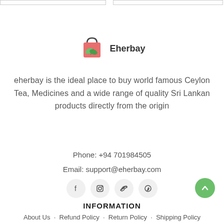[Figure (logo): Eherbay logo: shopping bag icon with green leaves and the text 'Eherbay']
eherbay is the ideal place to buy world famous Ceylon Tea, Medicines and a wide range of quality Sri Lankan products directly from the origin
Phone: +94 701984505
Email: support@eherbay.com
[Figure (other): Social media icons: Facebook, Instagram, Twitter, Pinterest]
INFORMATION
About Us  ·  Refund Policy  ·  Return Policy  ·  Shipping Policy